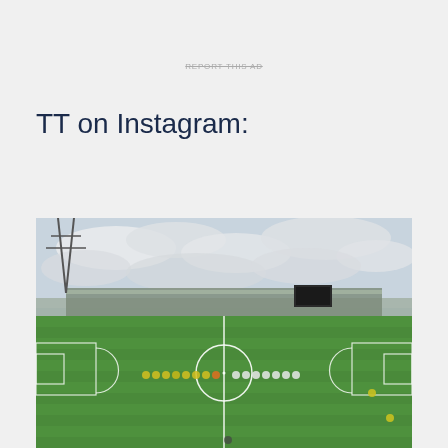REPORT THIS AD
TT on Instagram:
[Figure (photo): Football pitch panoramic view showing two teams lined up in the center circle at a stadium. Yellow/green team on the left, white team on the right. Grass pitch with white markings, stands full of spectators in the background, cloudy sky overhead. Electrical pylon visible top left.]